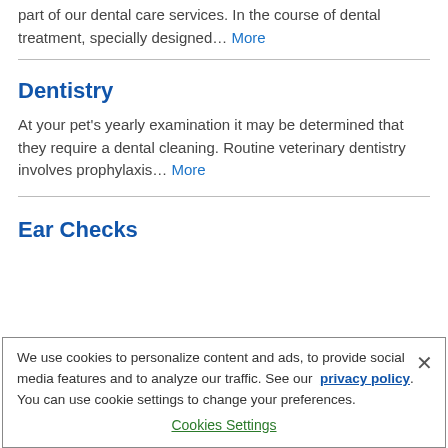Our hospital offers dental radiographs (X-rays) as part of our dental care services. In the course of dental treatment, specially designed… More
Dentistry
At your pet's yearly examination it may be determined that they require a dental cleaning. Routine veterinary dentistry involves prophylaxis… More
Ear Checks
We use cookies to personalize content and ads, to provide social media features and to analyze our traffic. See our privacy policy. You can use cookie settings to change your preferences. Cookies Settings